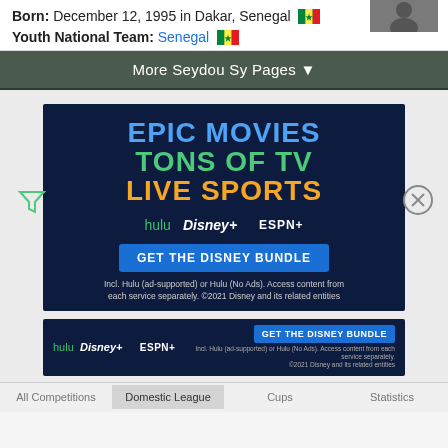Born: December 12, 1995 in Dakar, Senegal 🇸🇳
Youth National Team: Senegal 🇸🇳
More Seydou Sy Pages ▼
[Figure (infographic): Disney Bundle advertisement with text: EPIC MOVIES / TONS OF TV / LIVE SPORTS, featuring Hulu, Disney+, ESPN+ logos and GET THE DISNEY BUNDLE button. Fine print: Incl. Hulu (ad-supported) or Hulu (No Ads). Access content from each service separately. ©2021 Disney and its related entities]
[Figure (infographic): Smaller Disney Bundle banner ad with Hulu, Disney+, ESPN+ logos and GET THE DISNEY BUNDLE button. Fine print: Incl. Hulu (ad-supported) or Hulu (No Ads). Access content from each service separately. ©2021 Disney and its related entities]
All Competitions   Domestic League   Cups   Statistics